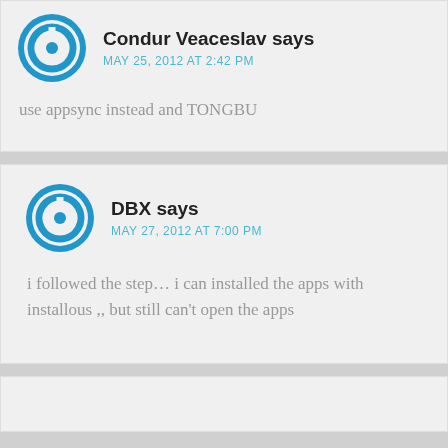Condur Veaceslav says
MAY 25, 2012 AT 2:42 PM
use appsync instead and TONGBU
DBX says
MAY 27, 2012 AT 7:00 PM
i followed the step… i can installed the apps with installous ,, but still can't open the apps